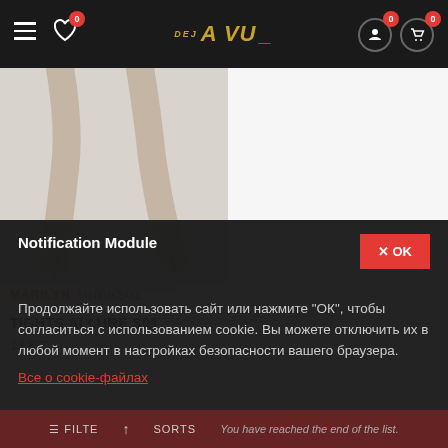DEJAVU navigation bar with hamburger menu, wishlist (0), logo, account, and cart (0)
[Figure (photo): Product photo showing legs in sheer tights and high heels on a light background]
MARILYN  HHHRS01
TIGHTS ALLURE S01
13 850
Notification Module
Продолжайте использовать сайт или нажмите "ОК", чтобы согласиться с использованием cookie. Вы можете отключить их в любой момент в настройках безопасности вашего браузера.
Все о cookie-файлах
You have reached the end of the list.